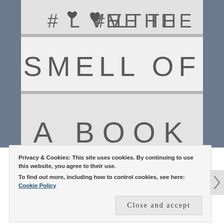[Figure (photo): Black and white photo of a lightbox sign reading '#LOVE THE SMELL OF A BOOK' with individual letter tiles arranged in three rows on an illuminated display board]
Privacy & Cookies: This site uses cookies. By continuing to use this website, you agree to their use.
To find out more, including how to control cookies, see here: Cookie Policy
Close and accept